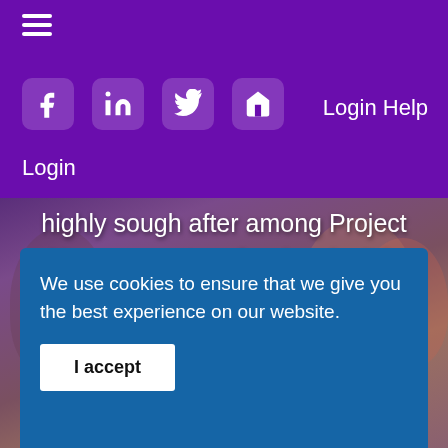☰  [Facebook] [LinkedIn] [Twitter] [Home]  Login Help
Login
[Figure (screenshot): Hero image of students studying together, with purple overlay and text: 'highly sough after among Project Management professionals. It is especially relevant in today's economic climate.' with a MORE INFORMATION button]
We use cookies to ensure that we give you the best experience on our website.
I accept